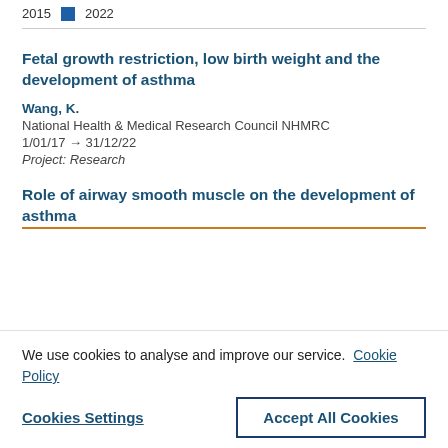[Figure (other): Legend row with blue squares for 2015 and 2022 years]
Fetal growth restriction, low birth weight and the development of asthma
Wang, K.
National Health & Medical Research Council NHMRC
1/01/17 → 31/12/22
Project: Research
Role of airway smooth muscle on the development of asthma
We use cookies to analyse and improve our service. Cookie Policy
Cookies Settings | Accept All Cookies